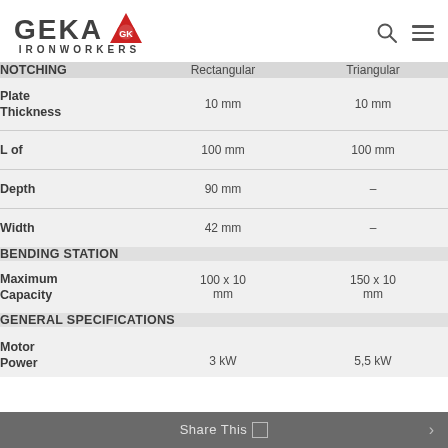GEKA IRONWORKERS
|  | Rectangular | Triangular |
| --- | --- | --- |
| Plate Thickness | 10 mm | 10 mm |
| L of | 100 mm | 100 mm |
| Depth | 90 mm | – |
| Width | 42 mm | – |
| BENDING STATION |  |  |
| Maximum Capacity | 100 x 10 mm | 150 x 10 mm |
| GENERAL SPECIFICATIONS |  |  |
| Motor Power | 3 kW | 5,5 kW |
Share This